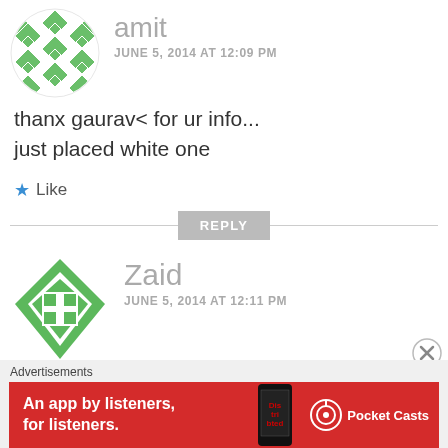[Figure (illustration): Green geometric diamond/quilt pattern avatar for user 'amit']
amit
JUNE 5, 2014 AT 12:09 PM
thanx gaurav< for ur info... just placed white one
★ Like
REPLY
[Figure (illustration): Green cross/plus shape with grid squares avatar for user 'Zaid']
Zaid
JUNE 5, 2014 AT 12:11 PM
THX FOR THE UPDATES...
Advertisements
[Figure (illustration): Pocket Casts advertisement banner - red background with phone image, text: An app by listeners, for listeners. Pocket Casts logo.]